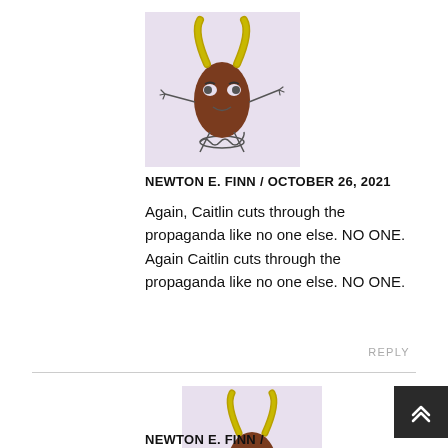[Figure (illustration): Cartoon character with yellow horns, brown oval body, stick arms and legs, on a spring base, lavender background]
NEWTON E. FINN / OCTOBER 26, 2021
Again, Caitlin cuts through the propaganda like no one else. NO ONE. Again Caitlin cuts through the propaganda like no one else. NO ONE.
REPLY
[Figure (illustration): Same cartoon character with yellow horns, brown oval body, stick arms and legs, on a spring base, lavender background]
NEWTON E. FINN /